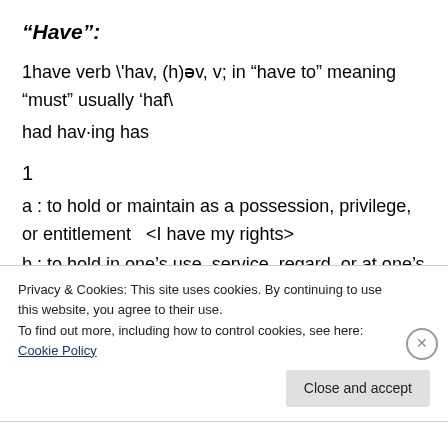“Have”:
1have verb \'hav, (h)əv, v; in “have to” meaning “must” usually ‘haf\ had hav·ing has
1
a : to hold or maintain as a possession, privilege, or entitlement  <I have my rights>
b : to hold in one’s use, service, regard, or at one’s disposal
Privacy & Cookies: This site uses cookies. By continuing to use this website, you agree to their use.
To find out more, including how to control cookies, see here: Cookie Policy